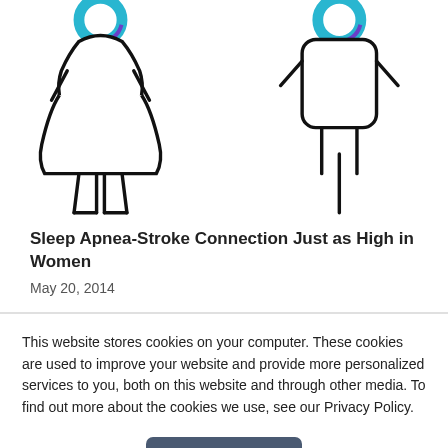[Figure (illustration): Two gender icons (female and male) with teal/blue circular heads representing sleep apnea devices, female figure on left with skirt shape, male figure on right with rectangular torso]
Sleep Apnea-Stroke Connection Just as High in Women
May 20, 2014
This website stores cookies on your computer. These cookies are used to improve your website and provide more personalized services to you, both on this website and through other media. To find out more about the cookies we use, see our Privacy Policy.